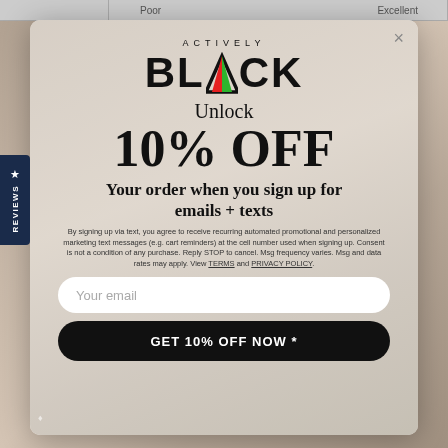Poor | Excellent
[Figure (screenshot): Reviews tab on left side with star icon]
[Figure (logo): Actively Black logo with red and green triangle accent]
Unlock 10% OFF
Your order when you sign up for emails + texts
By signing up via text, you agree to receive recurring automated promotional and personalized marketing text messages (e.g. cart reminders) at the cell number used when signing up. Consent is not a condition of any purchase. Reply STOP to cancel. Msg frequency varies. Msg and data rates may apply. View TERMS and PRIVACY POLICY.
Your email
GET 10% OFF NOW *